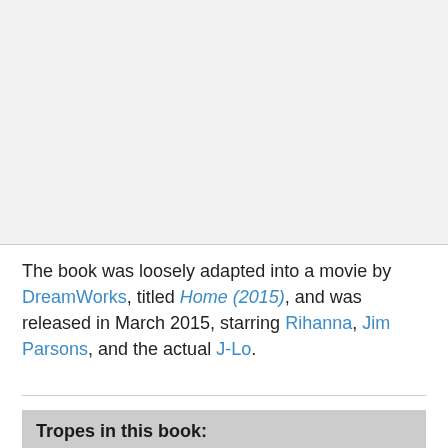[Figure (other): Blank light gray area at top of page, representing an image placeholder]
The book was loosely adapted into a movie by DreamWorks, titled Home (2015), and was released in March 2015, starring Rihanna, Jim Parsons, and the actual J-Lo.
Tropes in this book: